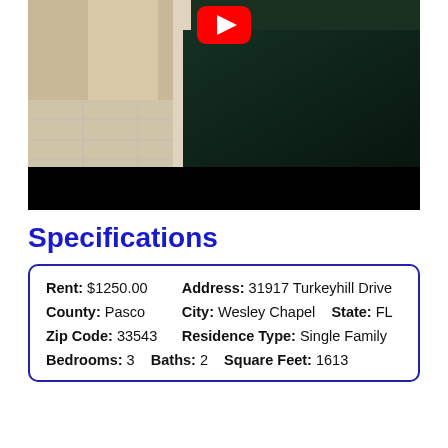[Figure (photo): Interior room photo showing hallway/room with tile floor and dark green carpet, YouTube play button overlay, black bar at bottom]
Specifications
| Rent: $1250.00 | Address: 31917 Turkeyhill Drive |
| County: Pasco | City: Wesley Chapel | State: FL |
| Zip Code: 33543 | Residence Type: Single Family |
| Bedrooms: 3 | Baths: 2 | Square Feet: 1613 |